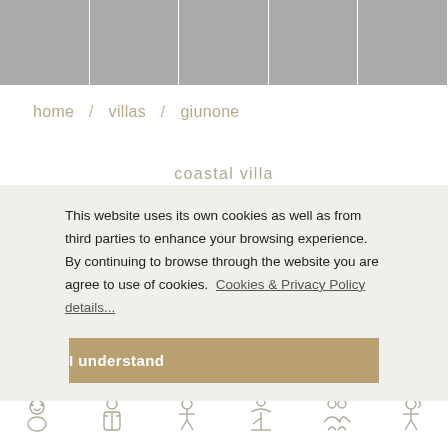[Figure (photo): Row of 5 property photos: pool, water garden, building facade, terrace/wood deck, tile/mosaic]
home / villas / giunone
coastal villa
from 6.650 to 19.100 €/ week
singles 1  doubles 4  bathrooms 5  guest bathrooms 1
This website uses its own cookies as well as from third parties to enhance your browsing experience. By continuing to browse through the website you are agree to use of cookies.  Cookies & Privacy Policy details...
[Figure (illustration): Cookie consent button: I understand]
[Figure (illustration): Row of 5 service icons at bottom: baby, butler/concierge, city/activities, beach/outdoor, dining/restaurant, chef]